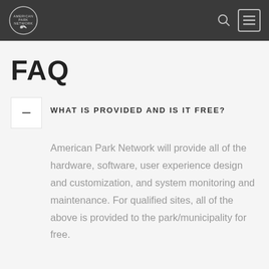American Park Network — navigation header with logo, search icon, and menu button
FAQ
WHAT IS PROVIDED AND IS IT FREE?
American Park Network will provide all of the hardware, software, user experience design and customization, and system monitoring and maintenance. For qualified sites, all of the above is provided to the park/municipality for free.